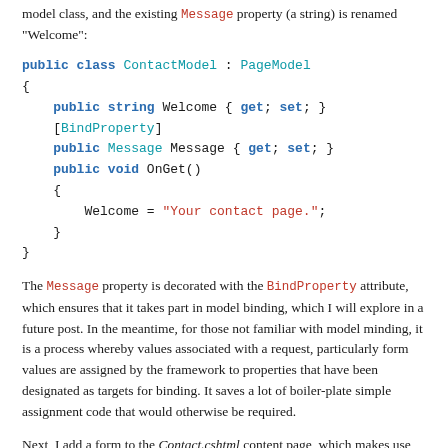model class, and the existing Message property (a string) is renamed "Welcome":
public class ContactModel : PageModel
{
    public string Welcome { get; set; }
    [BindProperty]
    public Message Message { get; set; }
    public void OnGet()
    {
        Welcome = "Your contact page.";
    }
}
The Message property is decorated with the BindProperty attribute, which ensures that it takes part in model binding, which I will explore in a future post. In the meantime, for those not familiar with model minding, it is a process whereby values associated with a request, particularly form values are assigned by the framework to properties that have been designated as targets for binding. It saves a lot of boiler-plate simple assignment code that would otherwise be required.
Next, I add a form to the Contact.cshtml content page, which makes use